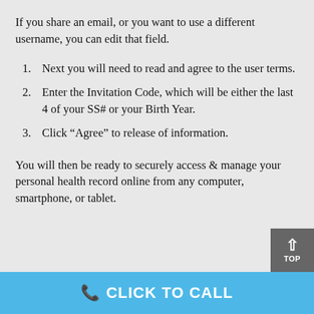If you share an email, or you want to use a different username, you can edit that field.
Next you will need to read and agree to the user terms.
Enter the Invitation Code, which will be either the last 4 of your SS# or your Birth Year.
Click “Agree” to release of information.
You will then be ready to securely access & manage your personal health record online from any computer, smartphone, or tablet.
CLICK TO CALL